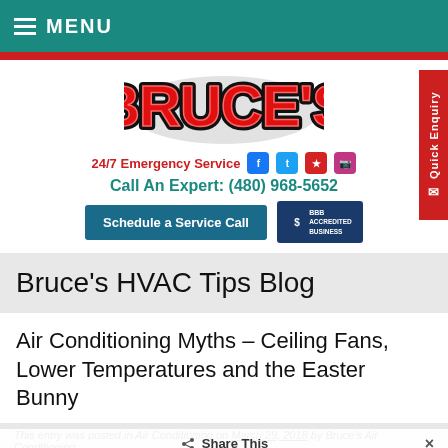MENU
[Figure (logo): Bruce's Air Conditioning logo in red comic-style lettering with black outline]
24/7 Emergency Service  [social icons: Facebook, Twitter, Yelp, Instagram]
Call An Expert: (480) 968-5652
Schedule a Service Call  |  BBB Accredited Business
Bruce's HVAC Tips Blog
Air Conditioning Myths – Ceiling Fans, Lower Temperatures and the Easter Bunny
This entry was posted in Air Conditioning on March 29, 2018 by Bruce's Air Conditioning